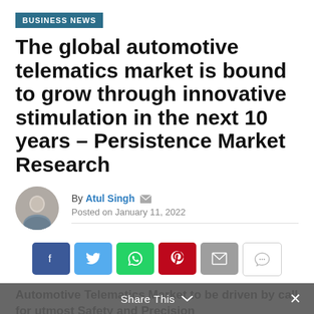BUSINESS NEWS
The global automotive telematics market is bound to grow through innovative stimulation in the next 10 years – Persistence Market Research
By Atul Singh · Posted on January 11, 2022
[Figure (other): Row of social share buttons: Facebook, Twitter, WhatsApp, Pinterest, Email, Comment]
Automotive Telematics Market to be driven by call for utmost Safety and Precision
The basic purpose of an automotive telematics system is
Share This ∨  ×